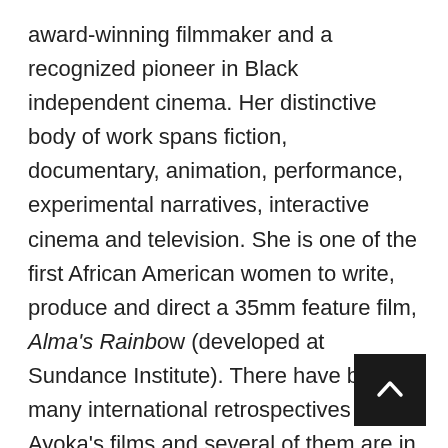award-winning filmmaker and a recognized pioneer in Black independent cinema. Her distinctive body of work spans fiction, documentary, animation, performance, experimental narratives, interactive cinema and television. She is one of the first African American women to write, produce and direct a 35mm feature film, Alma's Rainbow (developed at Sundance Institute). There have been many international retrospectives of Ayoka's films and several of them are in permanent collections including the Museum of Modern Art and the Whitney Museum of American Art.
In 2018, Ayoka directed a season three